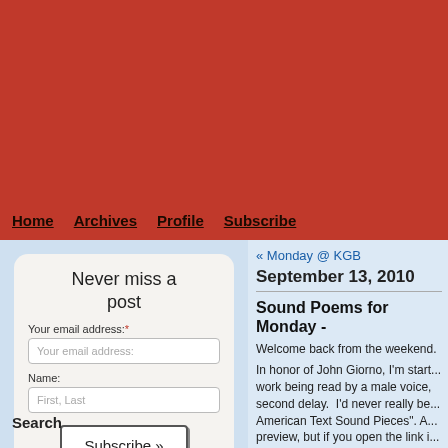Home   Archives   Profile   Subscribe
Never miss a post
Your email address: *
Name:
Subscribe »
Email Terms & Privacy
Search
« Monday @ KGB
September 13, 2010
Sound Poems for Monday -
Welcome back from the weekend.
In honor of John Giorno, I'm start... work being read by a male voice, second delay. I'd never really be... American Text Sound Pieces". A... preview, but if you open the link i...
The rules I set up for myself were:
1)  I could only use lyrics...